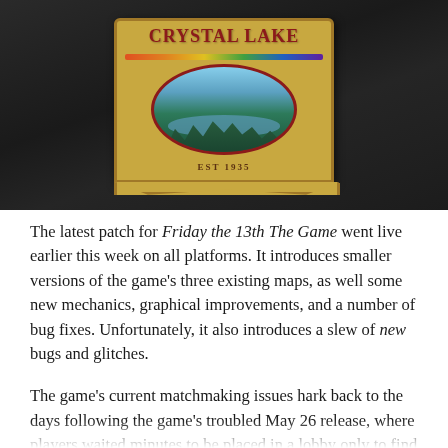[Figure (photo): A Crystal Lake sign with yellow/gold background, red text reading 'CRYSTAL LAKE', a rainbow stripe, an oval scene showing a lake with trees and sky, and 'EST 1935' below. The sign is mounted on a dark wooden background.]
The latest patch for Friday the 13th The Game went live earlier this week on all platforms. It introduces smaller versions of the game's three existing maps, as well some new mechanics, graphical improvements, and a number of bug fixes. Unfortunately, it also introduces a slew of new bugs and glitches.
The game's current matchmaking issues hark back to the days following the game's troubled May 26 release, where players waited minutes to be placed in a lobby only to find themselves alone. PlayStation 4 connections in particular have been rocky since the update, with crashes, lag, and...